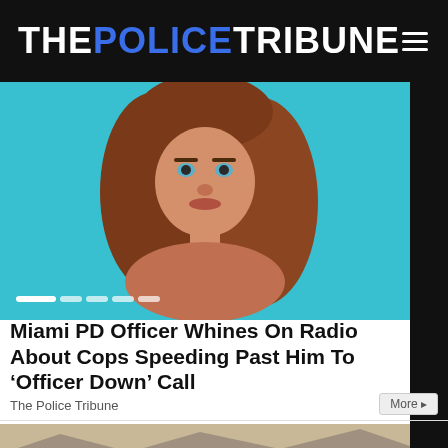THE POLICE TRIBUNE
[Figure (photo): Close-up portrait of a young woman with red/auburn hair and blue eyes against a cyan/teal background]
Miami PD Officer Whines On Radio About Cops Speeding Past Him To ‘Officer Down’ Call
The Police Tribune
[Figure (photo): Aerial or wide view of a large parking lot filled with cars in a desert or arid environment with mountains in the background]